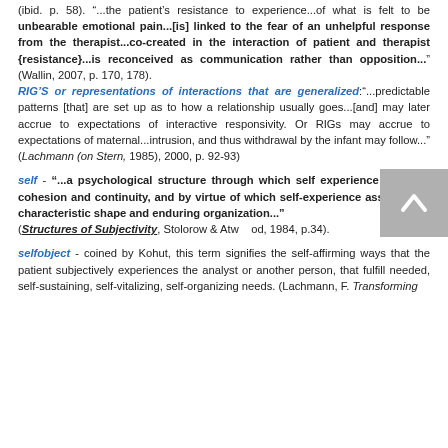(ibid. p. 58). "...the patient's resistance to experience...of what is felt to be unbearable emotional pain...[is] linked to the fear of an unhelpful response from the therapist...co-created in the interaction of patient and therapist {resistance}...is reconceived as communication rather than opposition..." (Wallin, 2007, p. 170, 178). RIG'S or representations of interactions that are generalized:"...predictable patterns [that] are set up as to how a relationship usually goes...[and] may later accrue to expectations of interactive responsivity. Or RIGs may accrue to expectations of maternal...intrusion, and thus withdrawal by the infant may follow..." (Lachmann (on Stern, 1985), 2000, p. 92-93)
self - "...a psychological structure through which self experience acquires cohesion and continuity, and by virtue of which self-experience assumes its characteristic shape and enduring organization..." (Structures of Subjectivity, Stolorow & Atwood, 1984, p.34).
selfobject - coined by Kohut, this term signifies the self-affirming ways that the patient subjectively experiences the analyst or another person, that fulfill needed, self-sustaining, self-vitalizing, self-organizing needs. (Lachmann, F. Transforming